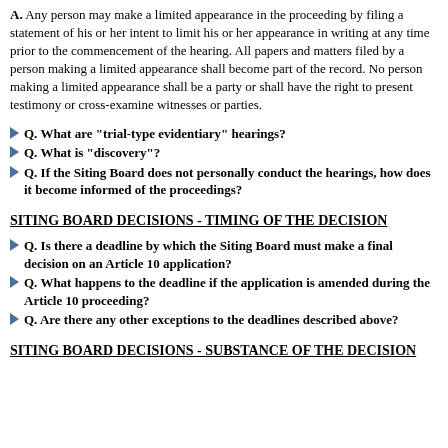A. Any person may make a limited appearance in the proceeding by filing a statement of his or her intent to limit his or her appearance in writing at any time prior to the commencement of the hearing. All papers and matters filed by a person making a limited appearance shall become part of the record. No person making a limited appearance shall be a party or shall have the right to present testimony or cross-examine witnesses or parties.
Q. What are "trial-type evidentiary" hearings?
Q. What is "discovery"?
Q. If the Siting Board does not personally conduct the hearings, how does it become informed of the proceedings?
SITING BOARD DECISIONS - TIMING OF THE DECISION
Q. Is there a deadline by which the Siting Board must make a final decision on an Article 10 application?
Q. What happens to the deadline if the application is amended during the Article 10 proceeding?
Q. Are there any other exceptions to the deadlines described above?
SITING BOARD DECISIONS - SUBSTANCE OF THE DECISION